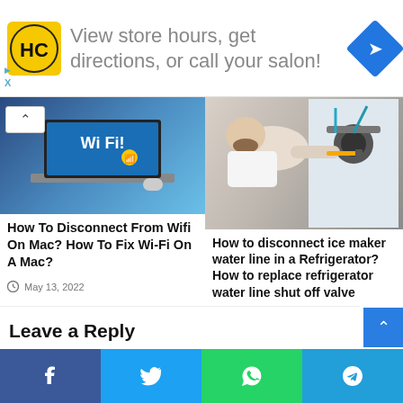[Figure (infographic): Advertisement banner: HC logo in yellow square, text 'View store hours, get directions, or call your salon!', blue diamond navigation icon on right]
[Figure (photo): Laptop showing Wi-Fi screen with 'Wi Fi!' text and wireless signal icon, placed on a bed]
[Figure (photo): Person working on refrigerator ice maker or compressor, using a screwdriver tool]
How To Disconnect From Wifi On Mac? How To Fix Wi-Fi On A Mac?
May 13, 2022
How to disconnect ice maker water line in a Refrigerator? How to replace refrigerator water line shut off valve
May 12, 2022
Leave a Reply